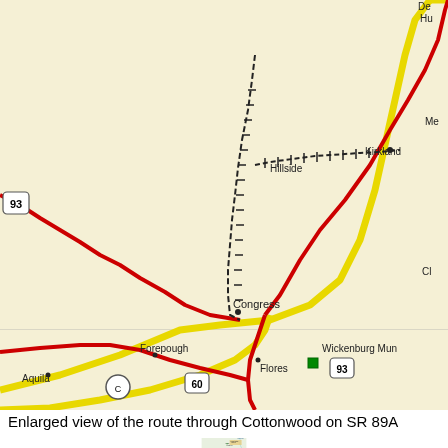[Figure (map): Road map showing Skull Valley, Hillside, Kirkland, Kirkland Junction, Congress, Flores, Wagoner, Constellation, Forepough, Aquila, Wickenburg Mun area with highways including US 93 and route 60, with yellow highlighted route and red roads]
Enlarged view of the route through Cottonwood on SR 89A
[Figure (map): Enlarged map view showing Cottonwood area on SR 89A, with Tuzigoot National Monument, Clarkdale, Clarkdale Park, and Tavasel Marsh visible]